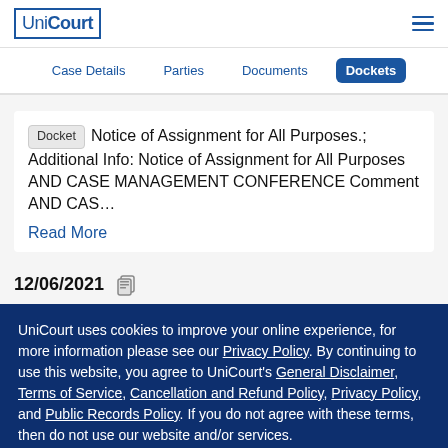UniCourt
Case Details | Parties | Documents | Dockets
Docket Notice of Assignment for All Purposes.; Additional Info: Notice of Assignment for All Purposes AND CASE MANAGEMENT CONFERENCE Comment AND CAS… Read More
12/06/2021
UniCourt uses cookies to improve your online experience, for more information please see our Privacy Policy. By continuing to use this website, you agree to UniCourt's General Disclaimer, Terms of Service, Cancellation and Refund Policy, Privacy Policy, and Public Records Policy. If you do not agree with these terms, then do not use our website and/or services.
I AGREE